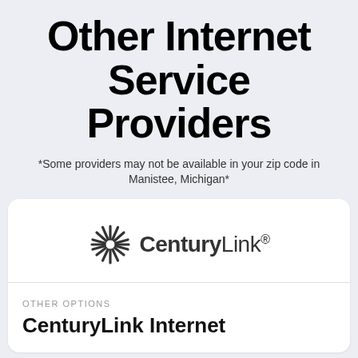Other Internet Service Providers
*Some providers may not be available in your zip code in Manistee, Michigan*
[Figure (logo): CenturyLink logo with sunburst icon and text 'CenturyLink' with registered trademark symbol]
OTHER OPTIONS
CenturyLink Internet